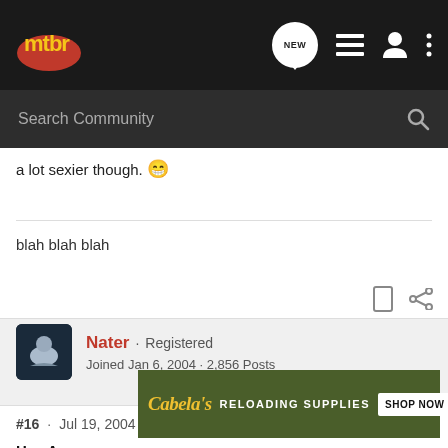mtbr header with search bar
a lot sexier though. 😁
blah blah blah
Nater · Registered
Joined Jan 6, 2004 · 2,856 Posts
#16 · Jul 19, 2004
Hey Aq
[Figure (screenshot): Cabela's Reloading Supplies advertisement banner with SHOP NOW button]